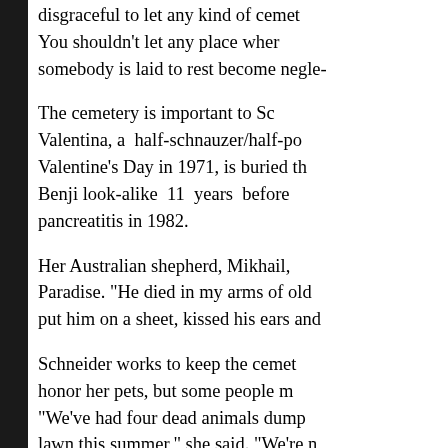disgraceful to let any kind of cemet... You shouldn't let any place where somebody is laid to rest become negle...
The cemetery is important to Sc... Valentina, a half-schnauzer/half-po... Valentine's Day in 1971, is buried th... Benji look-alike 11 years before... pancreatitis in 1982.
Her Australian shepherd, Mikhail, ... Paradise. "He died in my arms of old ... put him on a sheet, kissed his ears and ...
Schneider works to keep the ceme... honor her pets, but some people m... "We've had four dead animals dump... lawn this summer," she said. "We're n... We call animal services, and if (the ov... hole in their yard, I suggest that they d...
Progress